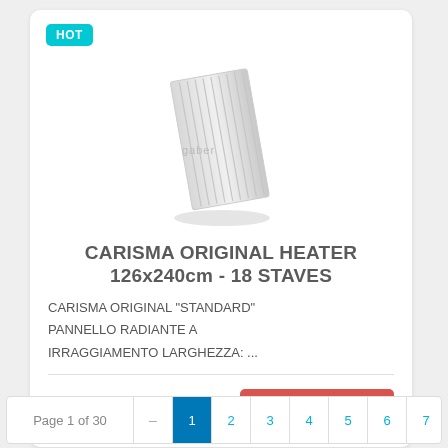[Figure (photo): Product card showing a flat panel heater radiator with HOT badge, product image, title, description text, and price button]
CARISMA ORIGINAL HEATER 126x240cm - 18 STAVES
CARISMA ORIGINAL "STANDARD" PANNELLO RADIANTE A IRRAGGIAMENTO LARGHEZZA: ...
€ 1.595,76
Page 1 of 30  –  1  2  3  4  5  6  7  8